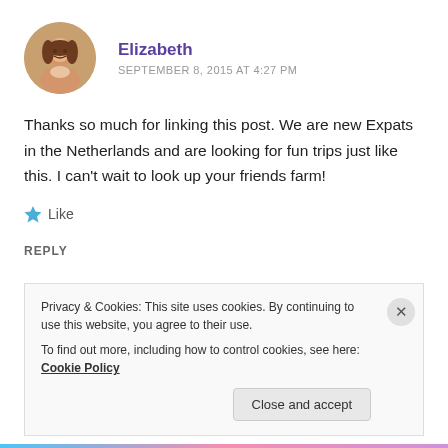[Figure (photo): Circular avatar photo of a woman with long hair, smiling]
Elizabeth
SEPTEMBER 8, 2015 AT 4:27 PM
Thanks so much for linking this post. We are new Expats in the Netherlands and are looking for fun trips just like this. I can't wait to look up your friends farm!
Like
REPLY
Privacy & Cookies: This site uses cookies. By continuing to use this website, you agree to their use. To find out more, including how to control cookies, see here: Cookie Policy
Close and accept